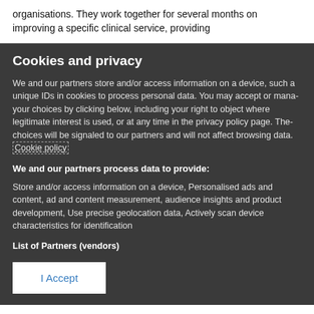organisations. They work together for several months on improving a specific clinical service, providing
Cookies and privacy
We and our partners store and/or access information on a device, such as unique IDs in cookies to process personal data. You may accept or manage your choices by clicking below, including your right to object where legitimate interest is used, or at any time in the privacy policy page. These choices will be signaled to our partners and will not affect browsing data. Cookie policy
We and our partners process data to provide:
Store and/or access information on a device, Personalised ads and content, ad and content measurement, audience insights and product development, Use precise geolocation data, Actively scan device characteristics for identification
List of Partners (vendors)
I Accept